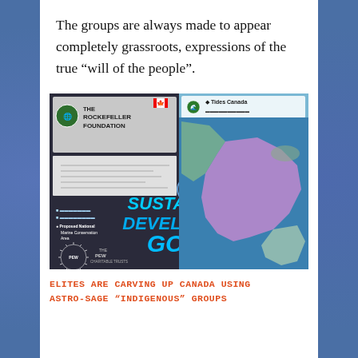The groups are always made to appear completely grassroots, expressions of the true “will of the people”.
[Figure (infographic): Collage image showing Rockefeller Foundation logo, UN Sustainable Development Goals text, Tides Canada logo, Pew Charitable Trusts logo, and a map of Canada with coloured regions indicating proposed marine conservation areas.]
ELITES ARE CARVING UP CANADA USING ASTRO-SAGE “INDIGENOUS” GROUPS